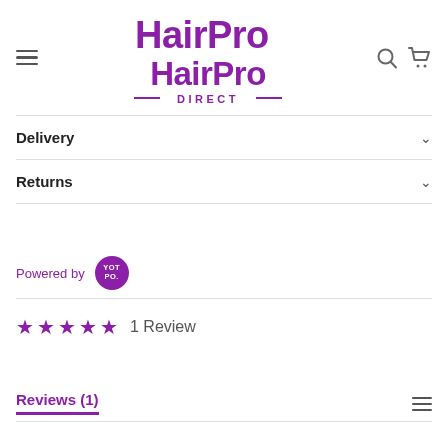HairPro DIRECT
Delivery
Returns
Powered by YOTPO
★★★★★  1 Review
Reviews (1)